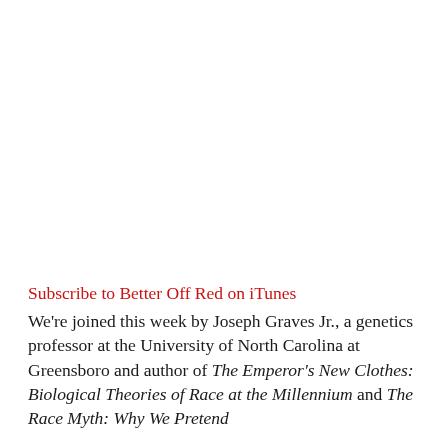Subscribe to Better Off Red on iTunes
We're joined this week by Joseph Graves Jr., a genetics professor at the University of North Carolina at Greensboro and author of The Emperor's New Clothes: Biological Theories of Race at the Millennium and The Race Myth: Why We Pretend